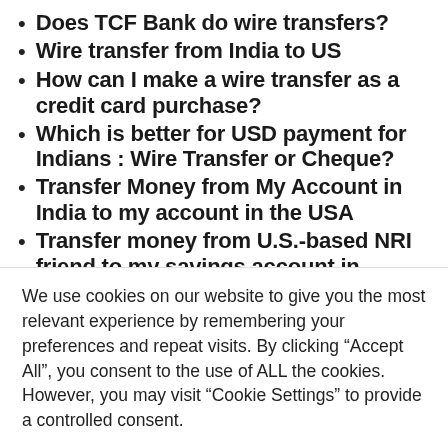Does TCF Bank do wire transfers?
Wire transfer from India to US
How can I make a wire transfer as a credit card purchase?
Which is better for USD payment for Indians : Wire Transfer or Cheque?
Transfer Money from My Account in India to my account in the USA
Transfer money from U.S.-based NRI friend to my savings account in
We use cookies on our website to give you the most relevant experience by remembering your preferences and repeat visits. By clicking “Accept All”, you consent to the use of ALL the cookies. However, you may visit “Cookie Settings” to provide a controlled consent.